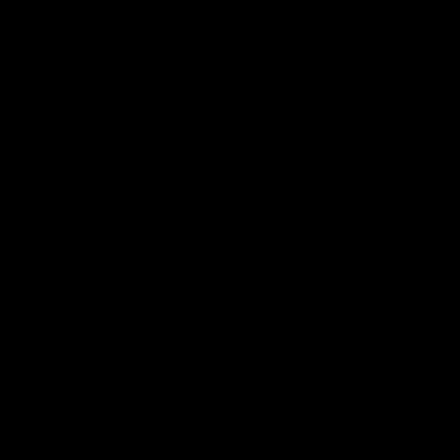2016† Château Haut-Bages-Libéral, Bordeaux
† Duramen Brut, Mercier
2019† Châteauneuf-du-Pape, Domaine André Brune
2019† Garance Bourgogne R, Bourgogne, 750 ml (77...)
2019† Domaines Ott Château, 750 ml (52251)
2020† Morgon Côte du Py Je, 750 ml (95239)
2020† Tout Rouge Litre, Dom, (54004)
2020† Bourgogne Blanc Châ, Bourgogne, 750 ml (78...)
2018† Bouzeron Les Bouillot, Domaine Guy Amiot et
2020† Côte de Brouilly "Les S, Bourgogne, 750 ml (94...)
2012† Valentine Par Valentin, Bordeaux, 750 ml (786...)
2020† Domaine Bressy Mass, Rhonedalen, 750 ml (9...)
2019† Sällskapets Vita Bourg, Bourgogne, 750 ml (7...)